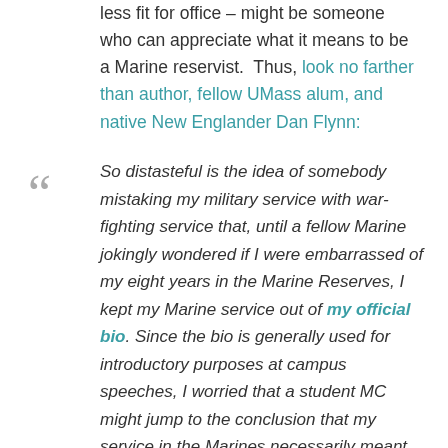less fit for office – might be someone who can appreciate what it means to be a Marine reservist.  Thus, look no farther than author, fellow UMass alum, and native New Englander Dan Flynn:
So distasteful is the idea of somebody mistaking my military service with war-fighting service that, until a fellow Marine jokingly wondered if I were embarrassed of my eight years in the Marine Reserves, I kept my Marine service out of my official bio. Since the bio is generally used for introductory purposes at campus speeches, I worried that a student MC might jump to the conclusion that my service in the Marines necessarily meant service in Iraq and Afghanistan–or Montezuma and Tripoli for that matter. If such people are capable of occasionally prefixing the word "author" with